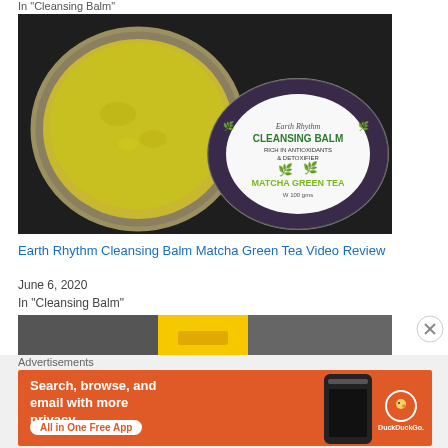In "Cleansing Balm"
[Figure (photo): Opened tin of Earth Rhythm Cleansing Balm Matcha Green Tea (100g), showing green-yellow balm inside the tin lid on left, and the closed tin with label on right, on dark background]
Earth Rhythm Cleansing Balm Matcha Green Tea Video Review
June 6, 2020
In "Cleansing Balm"
[Figure (photo): Partial view of another image, partially obscured by advertisement overlay]
Advertisements
[Figure (screenshot): DuckDuckGo advertisement banner: orange background with text 'Search, browse, and email with more privacy. All in One Free App' and DuckDuckGo logo with phone graphic]